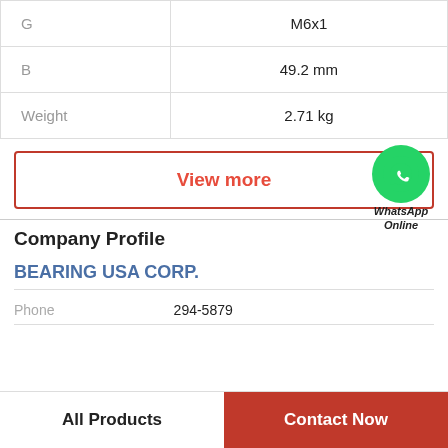| G | M6x1 |
| B | 49.2 mm |
| Weight | 2.71 kg |
View more
[Figure (logo): WhatsApp green circle icon with phone handset, labeled 'WhatsApp Online']
WhatsApp Online
Company Profile
BEARING USA CORP.
Phone   294-5879
All Products
Contact Now